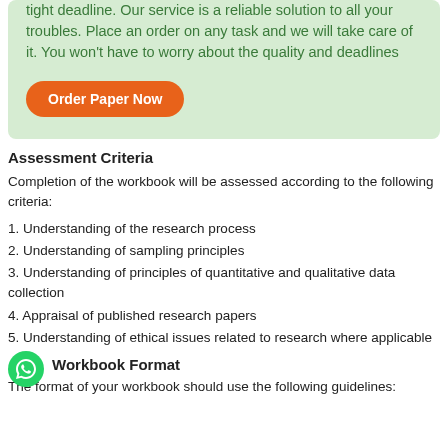tight deadline. Our service is a reliable solution to all your troubles. Place an order on any task and we will take care of it. You won't have to worry about the quality and deadlines
Order Paper Now
Assessment Criteria
Completion of the workbook will be assessed according to the following criteria:
1. Understanding of the research process
2. Understanding of sampling principles
3. Understanding of principles of quantitative and qualitative data collection
4. Appraisal of published research papers
5. Understanding of ethical issues related to research where applicable
Workbook Format
The format of your workbook should use the following guidelines: